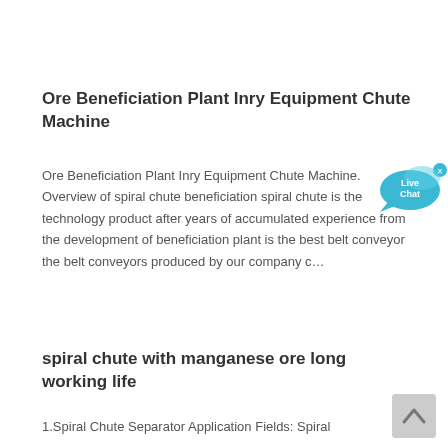Ore Beneficiation Plant Inry Equipment Chute Machine
Ore Beneficiation Plant Inry Equipment Chute Machine. Overview of spiral chute beneficiation spiral chute is the technology product after years of accumulated experience from the development of beneficiation plant is the best belt conveyor the belt conveyors produced by our company c…
[Figure (other): Live Chat button widget — a teal speech bubble with 'Live Chat' text and a close (×) button]
spiral chute with manganese ore long working life
1.Spiral Chute Separator Application Fields: Spiral Separator is mainly used in mining industry...
[Figure (other): Scroll-to-top button — grey rounded rectangle with an upward chevron/caret]